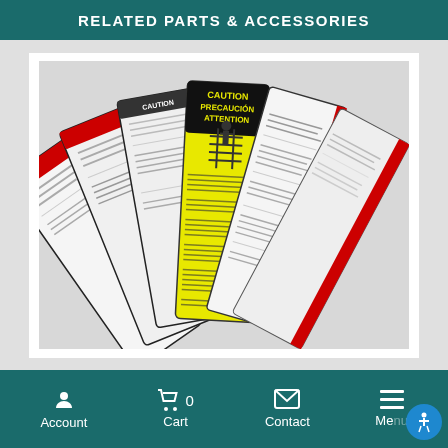RELATED PARTS & ACCESSORIES
[Figure (photo): Fan of safety label stickers spread out showing 'CAUTION PRECAUCION ATTENTION' text on yellow background with ladder safety diagram, multiple label cards fanned out]
Account  Cart  0  Contact  Menu